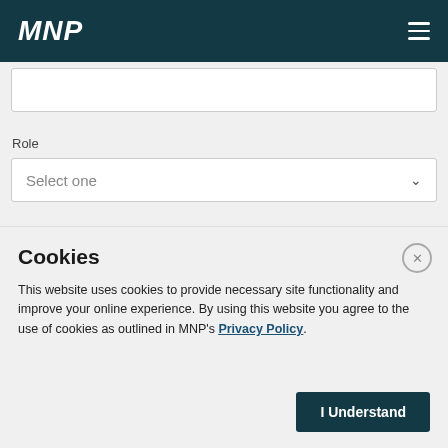MNP
Role
Select one
City
Cookies
This website uses cookies to provide necessary site functionality and improve your online experience. By using this website you agree to the use of cookies as outlined in MNP's Privacy Policy.
I Understand